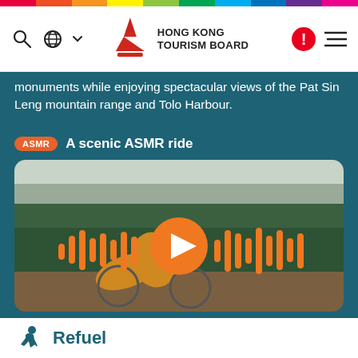[Figure (other): Hong Kong Tourism Board website screenshot with rainbow bar at top, HKTB logo in center of nav, search and language icons on left, alert and menu icons on right]
monuments while enjoying spectacular views of the Pat Sin Leng mountain range and Tolo Harbour.
ASMR   A scenic ASMR ride
[Figure (photo): Video thumbnail showing a person cycling on a bicycle wearing an orange jacket, with green hedges in background, overlaid with orange audio waveform bars and a large orange play button in the center]
Refuel